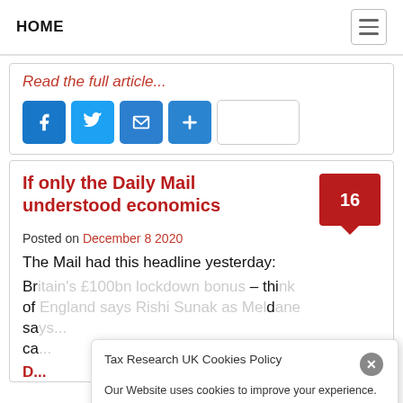HOME
Read the full article...
If only the Daily Mail understood economics
Posted on December 8 2020
The Mail had this headline yesterday:
Britain's £100bn lockdown bonus – think of England says Rishi Sunak as Meldane sa... ca...
Tax Research UK Cookies Policy
Our Website uses cookies to improve your experience. Please visit our Private: Data Protection & Cookie Policy page for more information about cookies and how we use them.